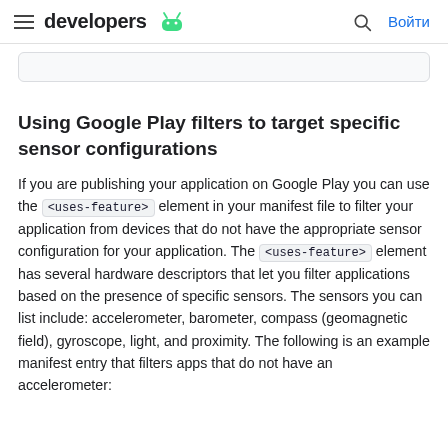developers [Android logo] | [Search] Войти
Using Google Play filters to target specific sensor configurations
If you are publishing your application on Google Play you can use the <uses-feature> element in your manifest file to filter your application from devices that do not have the appropriate sensor configuration for your application. The <uses-feature> element has several hardware descriptors that let you filter applications based on the presence of specific sensors. The sensors you can list include: accelerometer, barometer, compass (geomagnetic field), gyroscope, light, and proximity. The following is an example manifest entry that filters apps that do not have an accelerometer: